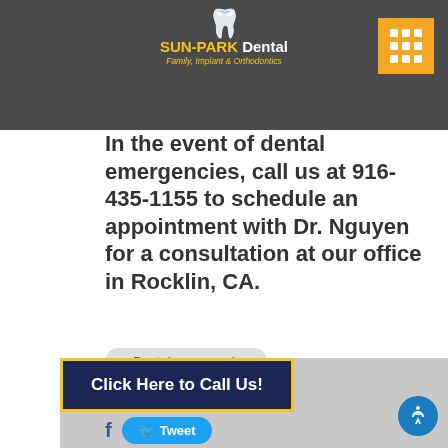[Figure (logo): Sun-Park Dental logo with tooth graphic and text 'SUN-PARK Dental, Family, Implant & Orthodontics']
In the event of dental emergencies, call us at 916-435-1155 to schedule an appointment with Dr. Nguyen for a consultation at our office in Rocklin, CA.
Dental emergencies
Share On
Tweet
Click Here to Call Us!
[Figure (other): No Image placeholder area]